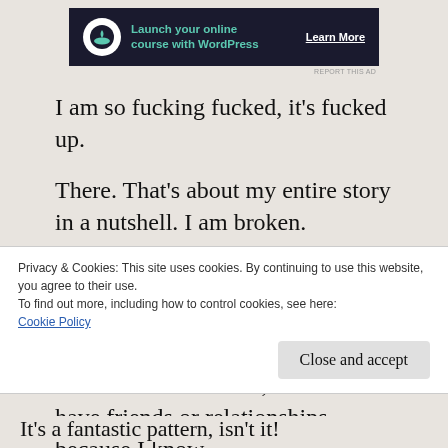[Figure (screenshot): Dark advertisement banner for WordPress online course with bonsai tree logo, teal text 'Launch your online course with WordPress', and 'Learn More' button]
REPORT THIS AD
I am so fucking fucked, it's fucked up.
There. That's about my entire story in a nutshell. I am broken. Completely broken, And like shattered shards of glass, anyone who comes near me walks away bleeding. So, I have become more and more of a recluse, afraid to have friends or relationships, because I know
Privacy & Cookies: This site uses cookies. By continuing to use this website, you agree to their use.
To find out more, including how to control cookies, see here:
Cookie Policy
Close and accept
It's a fantastic pattern, isn't it!